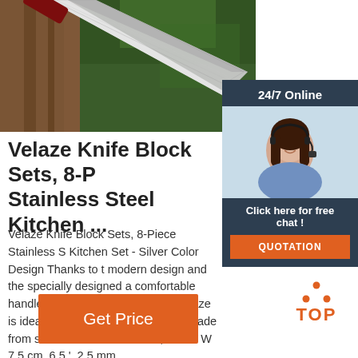[Figure (photo): A Damascus steel knife blade against a tree bark and green foliage background]
[Figure (infographic): 24/7 Online chat widget with female customer service agent wearing headset, 'Click here for free chat!' text and QUOTATION button]
Velaze Knife Block Sets, 8-P Stainless Steel Kitchen ...
Velaze Knife Block Sets, 8-Piece Stainless S Kitchen Set - Silver Color Design Thanks to t modern design and the specially designed a comfortable handles, this high-quality knife b Velaze is ideal for a contemporary kitchen.Made from stainless steel. 1 cleaver, L 30 x W 7.5 cm, 6.5 ', 2.5 mm
[Figure (logo): TOP badge with orange dots arranged in triangle above the word TOP in orange]
Get Price